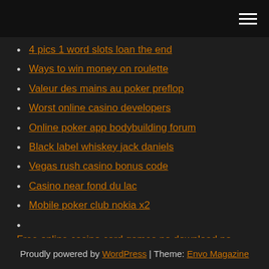4 pics 1 word slots loan the end
Ways to win money on roulette
Valeur des mains au poker preflop
Worst online casino developers
Online poker app bodybuilding forum
Black label whiskey jack daniels
Vegas rush casino bonus code
Casino near fond du lac
Mobile poker club nokia x2
Free online casino card games no download no registration
Proudly powered by WordPress | Theme: Envo Magazine